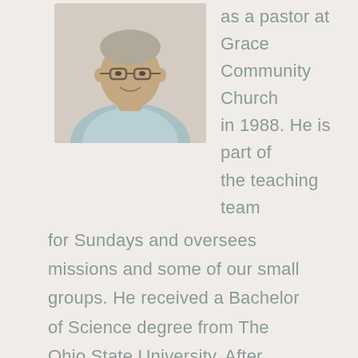[Figure (photo): Headshot photo of a man wearing glasses and a light plaid shirt, smiling]
as a pastor at Grace Community Church in 1988. He is part of the teaching team for Sundays and oversees missions and some of our small groups. He received a Bachelor of Science degree from The Ohio State University. After losing his beloved wife Wendy, Greg now lives in Kingsville, Maryland. He has seven children and several grandchildren.
[Figure (illustration): Gray circular email/envelope icon button]
Rick Myers